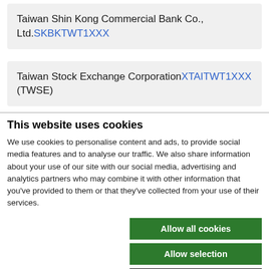Taiwan Shin Kong Commercial Bank Co., Ltd.  SKBKTWT1XXX
Taiwan Stock Exchange Corporation XTAITWT1XXX (TWSE)
This website uses cookies
We use cookies to personalise content and ads, to provide social media features and to analyse our traffic. We also share information about your use of our site with our social media, advertising and analytics partners who may combine it with other information that you've provided to them or that they've collected from your use of their services.
Allow all cookies
Allow selection
Use necessary cookies only
Necessary  Preferences  Statistics  Marketing  Show details